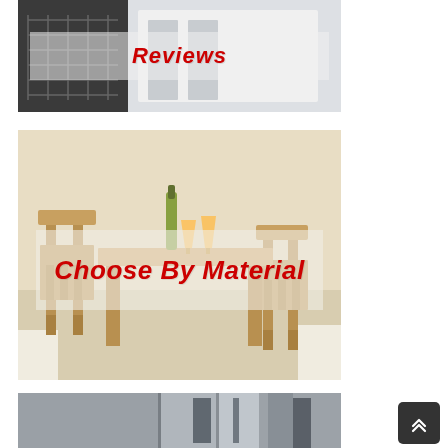[Figure (photo): Photo of bar stools in a kitchen setting with a semi-transparent overlay box containing red italic text 'Reviews']
[Figure (photo): Photo of wooden bar stools and a high table with wine bottle and glasses, with a semi-transparent overlay box containing red italic text 'Choose By Material']
[Figure (photo): Partial photo of bar stools or furniture items in grey/silver tones, cropped at bottom of page]